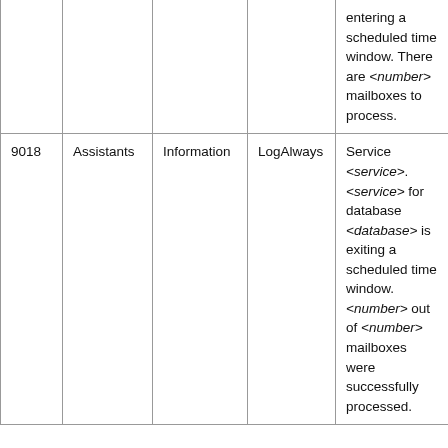| ID | Category | Type | Log | Description |
| --- | --- | --- | --- | --- |
|  |  |  |  | entering a scheduled time window. There are <number> mailboxes to process. |
| 9018 | Assistants | Information | LogAlways | Service <service>.<service> for database <database> is exiting a scheduled time window. <number> out of <number> mailboxes were successfully processed. |